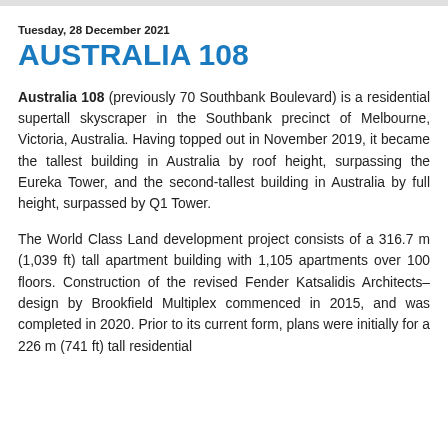Tuesday, 28 December 2021
AUSTRALIA 108
Australia 108 (previously 70 Southbank Boulevard) is a residential supertall skyscraper in the Southbank precinct of Melbourne, Victoria, Australia. Having topped out in November 2019, it became the tallest building in Australia by roof height, surpassing the Eureka Tower, and the second-tallest building in Australia by full height, surpassed by Q1 Tower.
The World Class Land development project consists of a 316.7 m (1,039 ft) tall apartment building with 1,105 apartments over 100 floors. Construction of the revised Fender Katsalidis Architects–design by Brookfield Multiplex commenced in 2015, and was completed in 2020. Prior to its current form, plans were initially for a 226 m (741 ft) tall residential